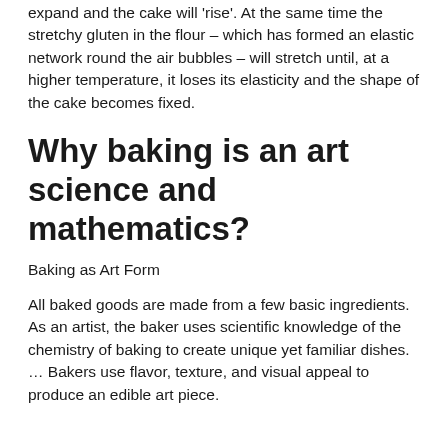expand and the cake will 'rise'. At the same time the stretchy gluten in the flour – which has formed an elastic network round the air bubbles – will stretch until, at a higher temperature, it loses its elasticity and the shape of the cake becomes fixed.
Why baking is an art science and mathematics?
Baking as Art Form
All baked goods are made from a few basic ingredients. As an artist, the baker uses scientific knowledge of the chemistry of baking to create unique yet familiar dishes. … Bakers use flavor, texture, and visual appeal to produce an edible art piece.